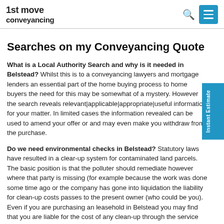1st move conveyancing
Searches on my Conveyancing Quote
What is a Local Authority Search and why is it needed in Belstead? Whilst this is to a conveyancing lawyers and mortgage lenders an essential part of the home buying process to home buyers the need for this may be somewhat of a mystery. However the search reveals relevant|applicable|appropriate|useful information for your matter. In limited cases the information revealed can be used to amend your offer or and may even make you withdraw from the purchase.
Do we need environmental checks in Belstead? Statutory laws have resulted in a clear-up system for contaminated land parcels. The basic position is that the polluter should remediate however where that party is missing (for example because the work was done some time ago or the company has gone into liquidation the liability for clean-up costs passes to the present owner (who could be you). Even if you are purchasing an leasehold in Belstead you may find that you are liable for the cost of any clean-up through the service charge provisions of the lease.